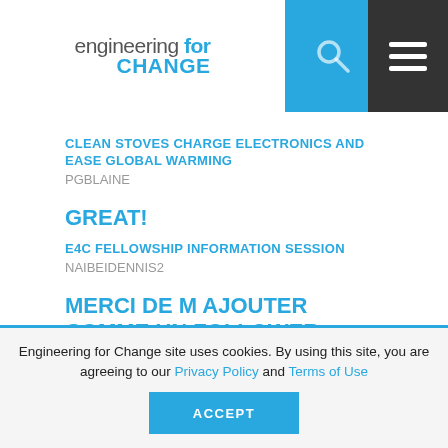engineering for change
CLEAN STOVES CHARGE ELECTRONICS AND EASE GLOBAL WARMING
PGBLAINE
GREAT!
E4C FELLOWSHIP INFORMATION SESSION
NAIBEIDENNIS2
MERCI DE M AJOUTER COMME UN FOLLOWER
E4C FELLOWSHIP INFORMATION SESSION
ELRHILANIH
Engineering for Change site uses cookies. By using this site, you are agreeing to our Privacy Policy and Terms of Use
ACCEPT